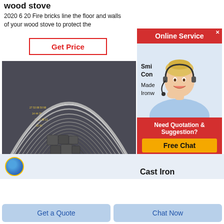wood stove
2020 6 20 Fire bricks line the floor and walls of your wood stove to protect the
Get Price
[Figure (photo): Industrial kiln or furnace interior showing circular rings/bricks lining the walls and loose bricks in the center]
Smi
Con
Made
Ironw
[Figure (photo): Online service advertisement with a female customer service agent wearing a headset, smiling]
Online Service
Need Quotation & Suggestion?
Free Chat
[Figure (logo): Globe logo icon, blue and yellow]
Cast Iron
Get a Quote
Chat Now